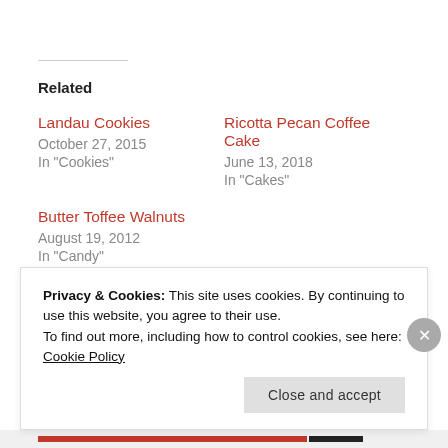Related
Landau Cookies
October 27, 2015
In "Cookies"
Ricotta Pecan Coffee Cake
June 13, 2018
In "Cakes"
Butter Toffee Walnuts
August 19, 2012
In "Candy"
💬 1 Comment
Privacy & Cookies: This site uses cookies. By continuing to use this website, you agree to their use.
To find out more, including how to control cookies, see here: Cookie Policy
Close and accept